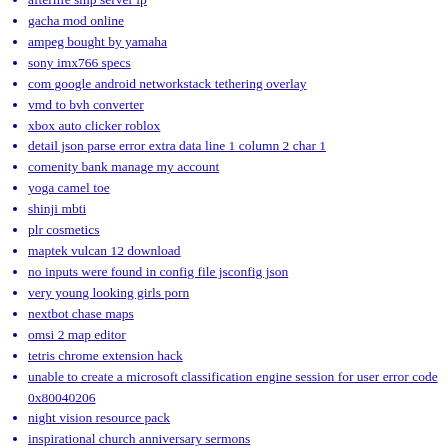afterlife smp server ip
gacha mod online
ampeg bought by yamaha
sony imx766 specs
com google android networkstack tethering overlay
vmd to bvh converter
xbox auto clicker roblox
detail json parse error extra data line 1 column 2 char 1
comenity bank manage my account
yoga camel toe
shinji mbti
plr cosmetics
maptek vulcan 12 download
no inputs were found in config file jsconfig json
very young looking girls porn
nextbot chase maps
omsi 2 map editor
tetris chrome extension hack
unable to create a microsoft classification engine session for user error code 0x80040206
night vision resource pack
inspirational church anniversary sermons
no connection could be made because the target machine actively refused it python
why is imperialhal called the ceo